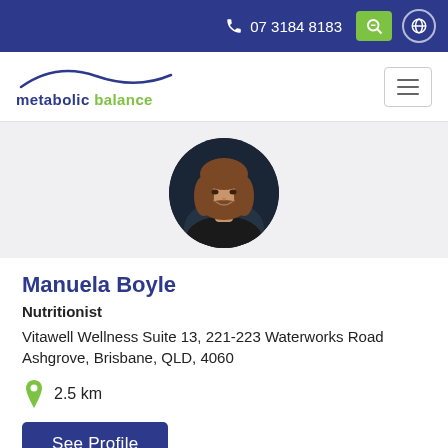07 3184 8183
[Figure (logo): Metabolic Balance logo with arc swoosh above text 'metabolic balance']
[Figure (photo): Circular headshot photo of Manuela Boyle, a woman with shoulder-length brown hair, wearing dark clothing, against a dark background]
Manuela Boyle
Nutritionist
Vitawell Wellness Suite 13, 221-223 Waterworks Road
Ashgrove, Brisbane, QLD, 4060
2.5 km
See Profile